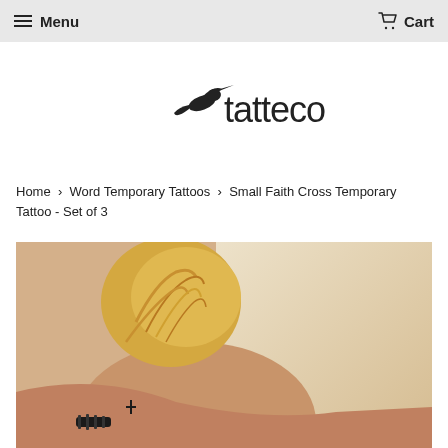Menu   Cart
[Figure (logo): Tatteco logo with hummingbird silhouette and text 'tatteco']
Home › Word Temporary Tattoos › Small Faith Cross Temporary Tattoo - Set of 3
[Figure (photo): Close-up photo of a person with blonde hair showing a small cross temporary tattoo on their wrist/neck area]